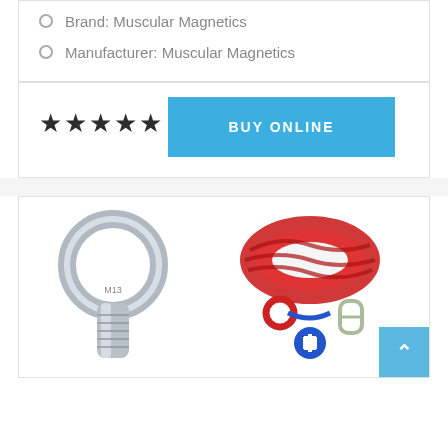Brand: Muscular Magnetics
Manufacturer: Muscular Magnetics
★★★★★
BUY ONLINE
[Figure (photo): Product photo showing a silver metal eye bolt (M13) and a coil of red rope with a blue carabiner clip, plus a blue plus sign icon indicating accessories included]